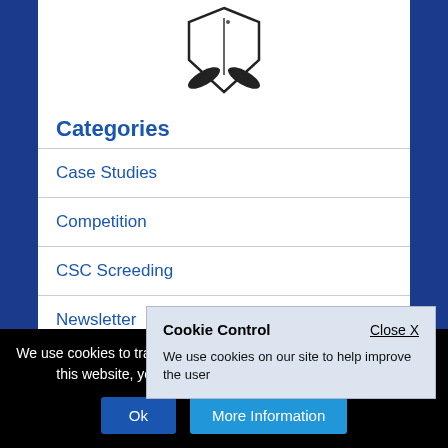[Figure (logo): Website logo: shield shape with crossed oars/paddles, black and white]
Categories
Case Studies
Competition
CSC Screeding
Newsletter
Polls
Screeding
Cookie Control
Close X
We use cookies on our site to help improve the user
We use cookies to track usage of our website. By continuing to use this website, you are consenting to the use of cookies.
Ok  More Information